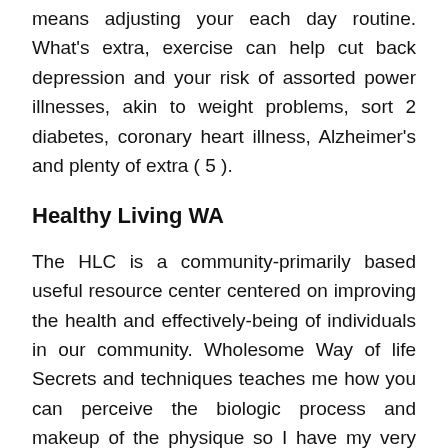means adjusting your each day routine. What's extra, exercise can help cut back depression and your risk of assorted power illnesses, akin to weight problems, sort 2 diabetes, coronary heart illness, Alzheimer's and plenty of extra ( 5 ).
Healthy Living WA
The HLC is a community-primarily based useful resource center centered on improving the health and effectively-being of individuals in our community. Wholesome Way of life Secrets and techniques teaches me how you can perceive the biologic process and makeup of the physique so I have my very own personalised plan. Along with consuming proper and being active, actual well being contains getting enough sleep, practising